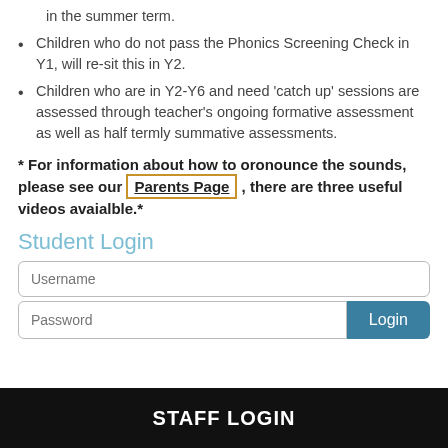in the summer term.
Children who do not pass the Phonics Screening Check in Y1, will re-sit this in Y2.
Children who are in Y2-Y6 and need 'catch up' sessions are assessed through teacher's ongoing formative assessment as well as half termly summative assessments.
* For information about how to oronounce the sounds, please see our Parents Page , there are three useful videos avaialble.*
Student Login
Username
Password
STAFF LOGIN